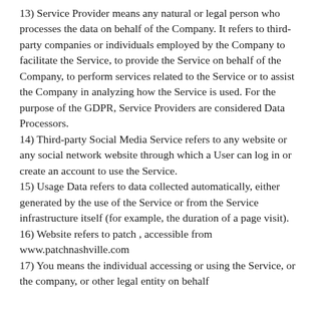13) Service Provider means any natural or legal person who processes the data on behalf of the Company. It refers to third-party companies or individuals employed by the Company to facilitate the Service, to provide the Service on behalf of the Company, to perform services related to the Service or to assist the Company in analyzing how the Service is used. For the purpose of the GDPR, Service Providers are considered Data Processors.
14) Third-party Social Media Service refers to any website or any social network website through which a User can log in or create an account to use the Service.
15) Usage Data refers to data collected automatically, either generated by the use of the Service or from the Service infrastructure itself (for example, the duration of a page visit).
16) Website refers to patch , accessible from www.patchnashville.com
17) You means the individual accessing or using the Service, or the company, or other legal entity on behalf